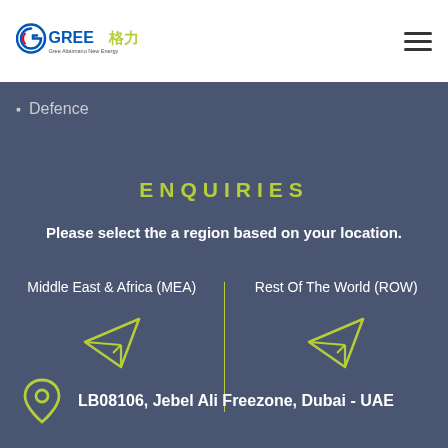[Figure (logo): Gree Altairnano New Energy logo with stylized G icon in blue/red]
Defence
ENQUIRIES
Please select the a region based on your location.
Middle East & Africa (MEA)
Rest Of The World (ROW)
LB08106, Jebel Ali Freezone, Dubai - UAE